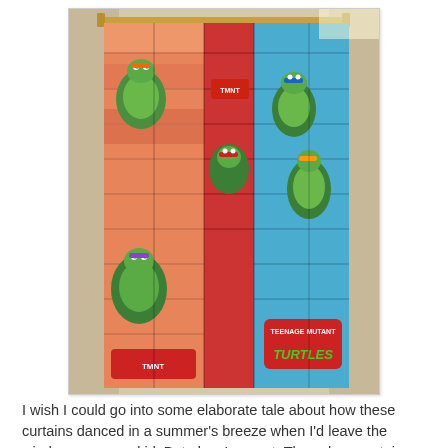[Figure (photo): A photograph of Teenage Mutant Ninja Turtles themed curtains hanging on a curtain rod. The curtains feature colorful cartoon TMNT characters on a brick-pattern background in orange, red, blue, green, and purple colors.]
I wish I could go into some elaborate tale about how these curtains danced in a summer's breeze when I'd leave the windows open as kid. But alas, I cannot. These long curtains just simply hung there - doing nothing but collecting dust.